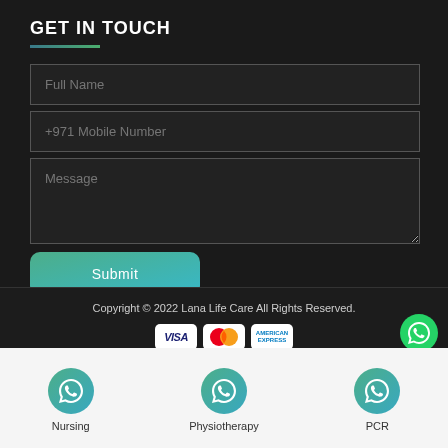GET IN TOUCH
[Figure (screenshot): Contact form with Full Name, +971 Mobile Number, and Message fields, plus a Submit button]
Copyright © 2022 Lana Life Care All Rights Reserved.
[Figure (logo): Payment icons: VISA, Mastercard, American Express]
Nursing
Physiotherapy
PCR